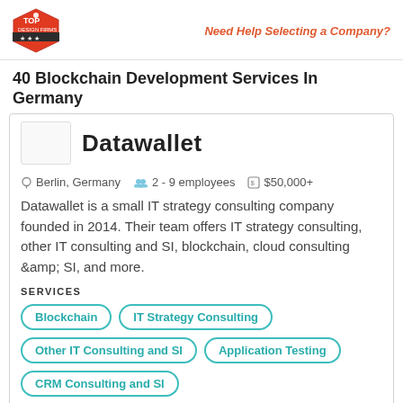Need Help Selecting a Company?
40 Blockchain Development Services In Germany
Datawallet
Berlin, Germany  2 - 9 employees  $50,000+
Datawallet is a small IT strategy consulting company founded in 2014. Their team offers IT strategy consulting, other IT consulting and SI, blockchain, cloud consulting &amp; SI, and more.
SERVICES
Blockchain
IT Strategy Consulting
Other IT Consulting and SI
Application Testing
CRM Consulting and SI